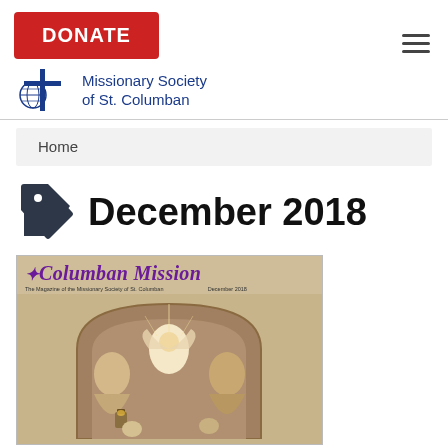[Figure (logo): Red DONATE button, Missionary Society of St. Columban logo with cross and globe icon, and hamburger menu icon]
Home
December 2018
[Figure (photo): Columban Mission magazine cover for December 2018, showing an artistic painting of angelic figures under an arch, with the title 'Columban Mission' in purple italic serif font]